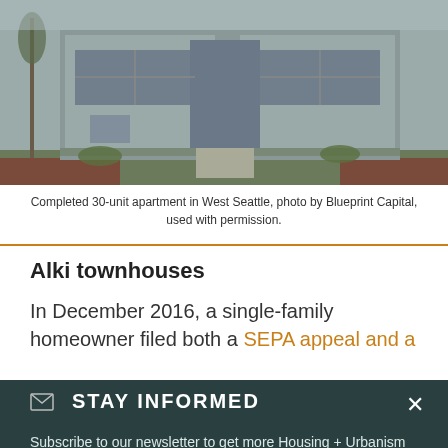[Figure (photo): Photograph of a completed 30-unit apartment building in West Seattle, showing modern townhouse-style architecture with large windows, horizontal siding, and minimal landscaping.]
Completed 30-unit apartment in West Seattle, photo by Blueprint Capital, used with permission.
Alki townhouses
In December 2016, a single-family homeowner filed both a SEPA appeal and a
✉ STAY INFORMED

Subscribe to our newsletter to get more Housing + Urbanism research, analysis, and other policy updates delivered to your inbox

SIGN UP